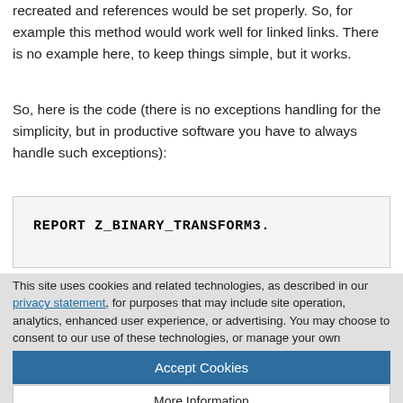recreated and references would be set properly. So, for example this method would work well for linked links. There is no example here, to keep things simple, but it works.
So, here is the code (there is no exceptions handling for the simplicity, but in productive software you have to always handle such exceptions):
This site uses cookies and related technologies, as described in our privacy statement, for purposes that may include site operation, analytics, enhanced user experience, or advertising. You may choose to consent to our use of these technologies, or manage your own preferences.
Accept Cookies
More Information
Privacy Policy | Powered by: TrustArc